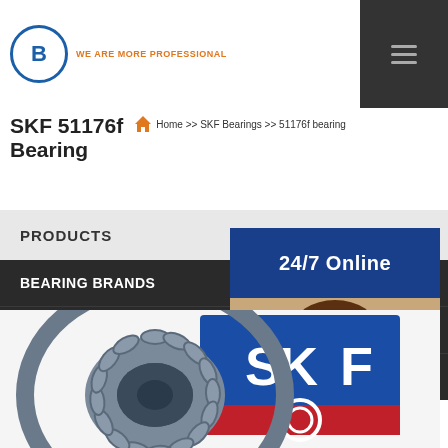B WE ARE MORE PROFESSIONAL
SKF 51176f Bearing
Home >> SKF Bearings >> 51176f bearing
PRODUCTS
BEARING BRANDS
PRODUCTS
24/7 Online
Have any requests, click here.
Quotation
[Figure (photo): SKF bearing product photo showing a spherical roller bearing next to a blue SKF branded box, with a customer service agent photo on the right]